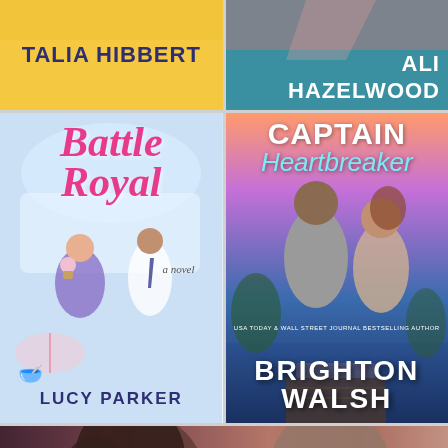[Figure (photo): Book cover top portion — yellow background with author name TALIA HIBBERT in dark blue bold text]
[Figure (photo): Book cover top portion — teal background with author name ALI HAZELWOOD in white bold text]
[Figure (illustration): Book cover for 'Battle Royal' by Lucy Parker — illustrated cover with light blue background showing a woman in purple dress holding a cupcake and a man in white shirt with tie. Title 'Battle Royal' in pink italic script, subtitle 'a novel', author name LUCY PARKER at bottom.]
[Figure (photo): Book cover for 'Captain Heartbreaker' by Brighton Walsh — photographic cover showing a couple about to kiss at sunset. Title 'CAPTAIN Heartbreaker' at top, 'USA TODAY & WALL STREET JOURNAL BESTSELLING AUTHOR' text, author name BRIGHTON WALSH at bottom in large white text.]
[Figure (photo): Close-up photo of a Black woman and a man facing each other as if about to kiss, romantic scene with warm tones.]